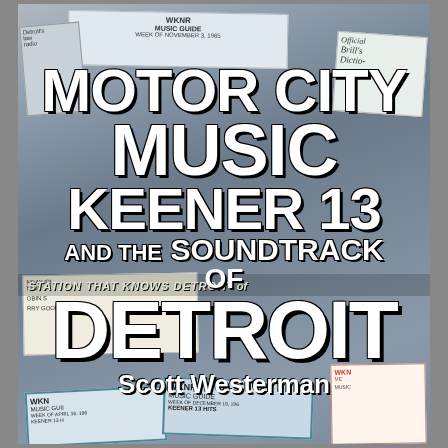[Figure (illustration): Book cover for 'Motor City Music Keener 13 and the Soundtrack of Detroit' by Scott Westerman. Background is a collage of vintage radio station music guide pamphlets and documents including WKNR Keener 13 materials. Large bold white text overlays the collage with the title and author name.]